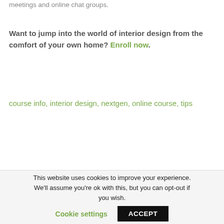meetings and online chat groups.
Want to jump into the world of interior design from the comfort of your own home? Enroll now.
course info, interior design, nextgen, online course, tips
This website uses cookies to improve your experience. We'll assume you're ok with this, but you can opt-out if you wish. Cookie settings ACCEPT